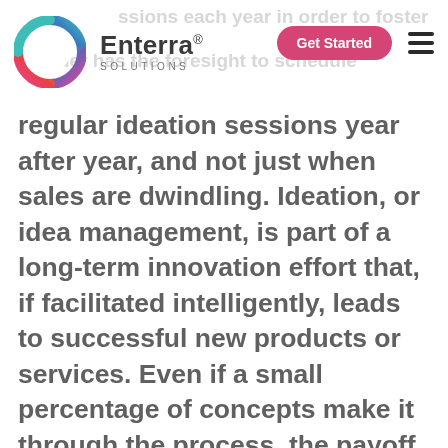Enterra Solutions — Get Started
regular ideation sessions year after year, and not just when sales are dwindling. Ideation, or idea management, is part of a long-term innovation effort that, if facilitated intelligently, leads to successful new products or services. Even if a small percentage of concepts make it through the process, the payoff could be significant for the